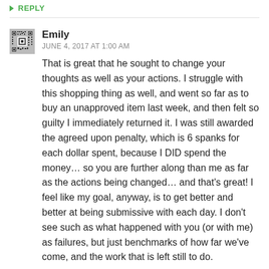↳ REPLY
Emily
JUNE 4, 2017 AT 1:00 AM
That is great that he sought to change your thoughts as well as your actions. I struggle with this shopping thing as well, and went so far as to buy an unapproved item last week, and then felt so guilty I immediately returned it. I was still awarded the agreed upon penalty, which is 6 spanks for each dollar spent, because I DID spend the money... so you are further along than me as far as the actions being changed... and that's great! I feel like my goal, anyway, is to get better and better at being submissive with each day. I don't see such as what happened with you (or with me) as failures, but just benchmarks of how far we've come, and the work that is left still to do.